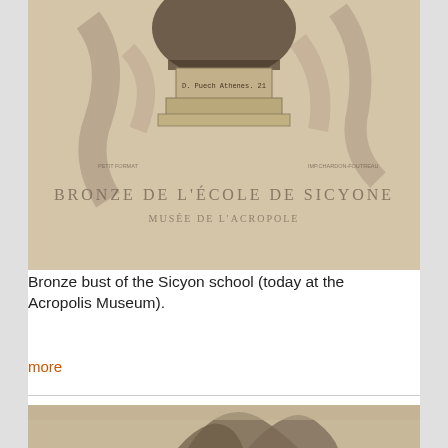[Figure (photo): Vintage sepia-toned illustration/photograph of a bronze bust labeled 'BRONZE DE L'ÉCOLE DE SICYONE, MUSÉE DE L'ACROPOLE', showing a fragmented bronze head on a pedestal with an attribution note]
Bronze bust of the Sicyon school (today at the Acropolis Museum).
more
[Figure (photo): Partial view of a sepia-toned photograph showing rocky ruins or stone formations]